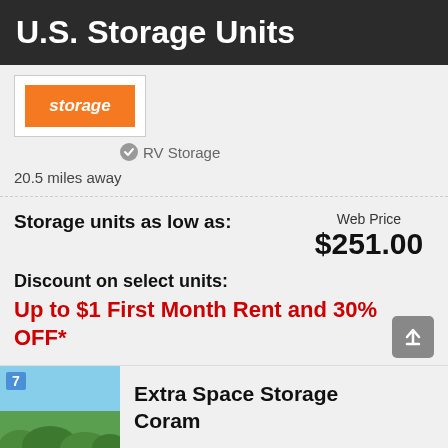U.S. Storage Units
[Figure (logo): U.S. Storage company logo with orange background and white italic text]
RV Storage
20.5 miles away
Storage units as low as:
Web Price $251.00
Discount on select units:
Up to $1 First Month Rent and 30% OFF*
Click here to View all Units, Reserve FREE
Extra Space Storage Coram